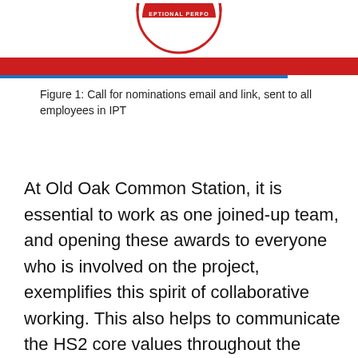[Figure (logo): Circular logo with text 'EPTIONAL PERFO' visible around the edge in red on white background]
Figure 1: Call for nominations email and link, sent to all employees in IPT
At Old Oak Common Station, it is essential to work as one joined-up team, and opening these awards to everyone who is involved on the project, exemplifies this spirit of collaborative working. This also helps to communicate the HS2 core values throughout the wider team, as well as celebrating success and sharing examples of best practice.